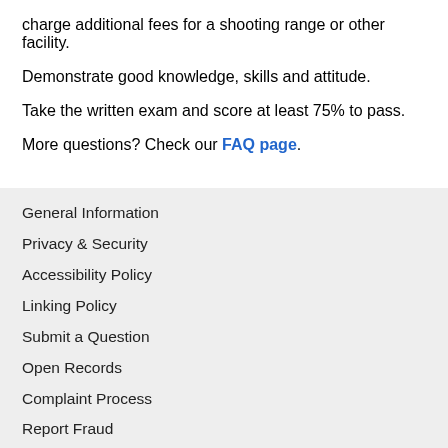charge additional fees for a shooting range or other facility.
Demonstrate good knowledge, skills and attitude.
Take the written exam and score at least 75% to pass.
More questions? Check our FAQ page.
General Information
Privacy & Security
Accessibility Policy
Linking Policy
Submit a Question
Open Records
Complaint Process
Report Fraud
Texas Parks and Wildlife Department